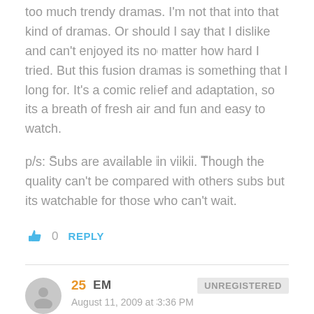too much trendy dramas. I'm not that into that kind of dramas. Or should I say that I dislike and can't enjoyed its no matter how hard I tried. But this fusion dramas is something that I long for. It's a comic relief and adaptation, so its a breath of fresh air and fun and easy to watch.
p/s: Subs are available in viikii. Though the quality can't be compared with others subs but its watchable for those who can't wait.
0  REPLY
25  EM  UNREGISTERED
August 11, 2009 at 3:36 PM
I just watched ep 2 and its even better. I cant wait for next week, this drama is brilliant. Full of fun and never a dull moment.
William and Boo Jin are the sweetest couple!!!! Their